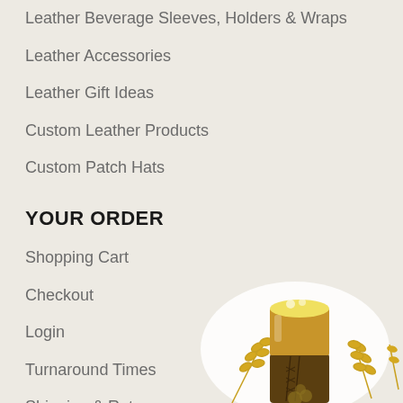Leather Beverage Sleeves, Holders & Wraps
Leather Accessories
Leather Gift Ideas
Custom Leather Products
Custom Patch Hats
YOUR ORDER
Shopping Cart
Checkout
Login
Turnaround Times
Shipping & Returns
Lifetime Warranty
[Figure (illustration): Illustration of a beer mug with leather sleeve, surrounded by wheat/barley stalks and hops, in gold and brown tones]